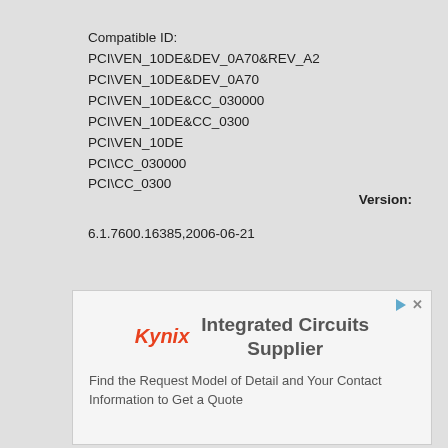Compatible ID:
PCI\VEN_10DE&DEV_0A70&REV_A2
PCI\VEN_10DE&DEV_0A70
PCI\VEN_10DE&CC_030000
PCI\VEN_10DE&CC_0300
PCI\VEN_10DE
PCI\CC_030000
PCI\CC_0300
Version:
6.1.7600.16385,2006-06-21
[Figure (infographic): Kynix advertisement banner: Kynix logo (red italic), 'Integrated Circuits Supplier' heading in gray, 'Find the Request Model of Detail and Your Contact Information to Get a Quote' description text. Play and close icons in top right corner.]